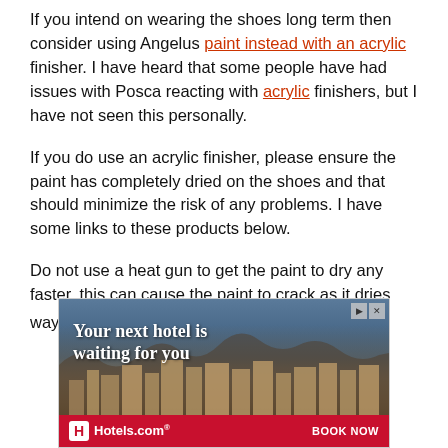If you intend on wearing the shoes long term then consider using Angelus paint instead with an acrylic finisher. I have heard that some people have had issues with Posca reacting with acrylic finishers, but I have not seen this personally.
If you do use an acrylic finisher, please ensure the paint has completely dried on the shoes and that should minimize the risk of any problems. I have some links to these products below.
Do not use a heat gun to get the paint to dry any faster, this can cause the paint to crack as it dries way too fast and robs the paint of some of the
[Figure (other): Advertisement banner for Hotels.com showing a hotel resort with mountains in background, text 'Your next hotel is waiting for you' with Hotels.com logo and BOOK NOW button]